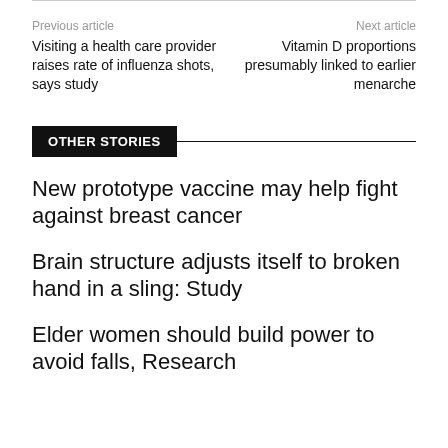Previous article | Next article
Visiting a health care provider raises rate of influenza shots, says study
Vitamin D proportions presumably linked to earlier menarche
OTHER STORIES
New prototype vaccine may help fight against breast cancer
Brain structure adjusts itself to broken hand in a sling: Study
Elder women should build power to avoid falls, Research